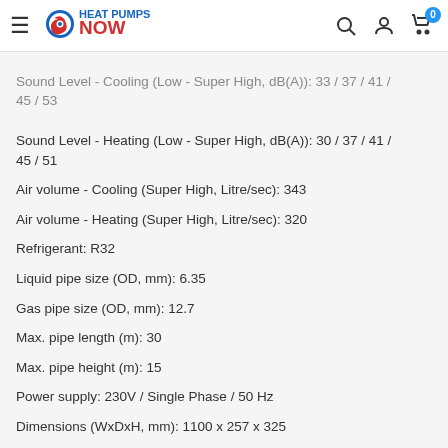Heat Pumps NOW — navigation header with logo, search, account, cart icons
Sound Level - Cooling (Low - Super High, dB(A)): 33 / 37 / 41 / 45 / 53
Sound Level - Heating (Low - Super High, dB(A)): 30 / 37 / 41 / 45 / 51
Air volume - Cooling (Super High, Litre/sec): 343
Air volume - Heating (Super High, Litre/sec): 320
Refrigerant: R32
Liquid pipe size (OD, mm): 6.35
Gas pipe size (OD, mm): 12.7
Max. pipe length (m): 30
Max. pipe height (m): 15
Power supply: 230V / Single Phase / 50 Hz
Dimensions (WxDxH, mm): 1100 x 257 x 325
Weight: 17.0 kg